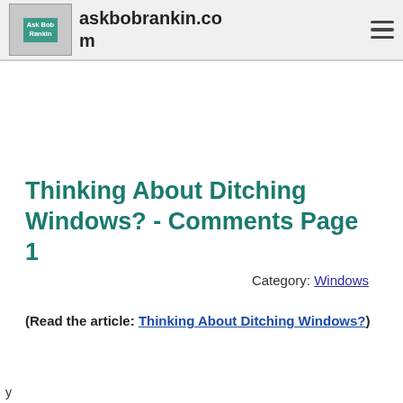askbobrankin.com
Thinking About Ditching Windows? - Comments Page 1
Category: Windows
(Read the article: Thinking About Ditching Windows?)